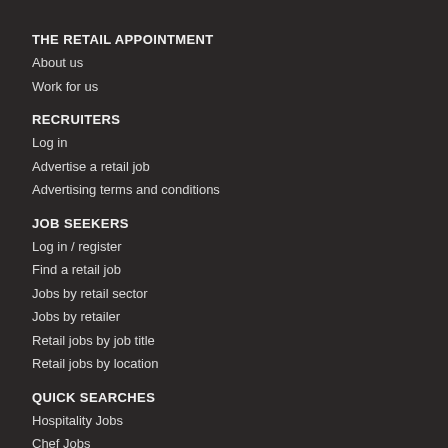THE RETAIL APPOINTMENT
About us
Work for us
RECRUITERS
Log in
Advertise a retail job
Advertising terms and conditions
JOB SEEKERS
Log in / register
Find a retail job
Jobs by retail sector
Jobs by retailer
Retail jobs by job title
Retail jobs by location
QUICK SEARCHES
Hospitality Jobs
Chef Jobs
Retail Management Jobs
Buying Jobs
Merchandising Jobs